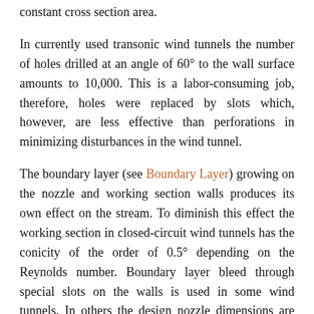constant cross section area.
In currently used transonic wind tunnels the number of holes drilled at an angle of 60° to the wall surface amounts to 10,000. This is a labor-consuming job, therefore, holes were replaced by slots which, however, are less effective than perforations in minimizing disturbances in the wind tunnel.
The boundary layer (see Boundary Layer) growing on the nozzle and working section walls produces its own effect on the stream. To diminish this effect the working section in closed-circuit wind tunnels has the conicity of the order of 0.5° depending on the Reynolds number. Boundary layer bleed through special slots on the walls is used in some wind tunnels. In others the design nozzle dimensions are increased by the value equal to